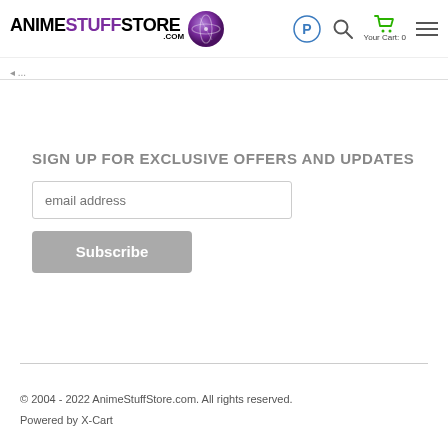ANIMESTUFFSTORE.COM
SIGN UP FOR EXCLUSIVE OFFERS AND UPDATES
email address
Subscribe
© 2004 - 2022 AnimeStuffStore.com. All rights reserved. Powered by X-Cart